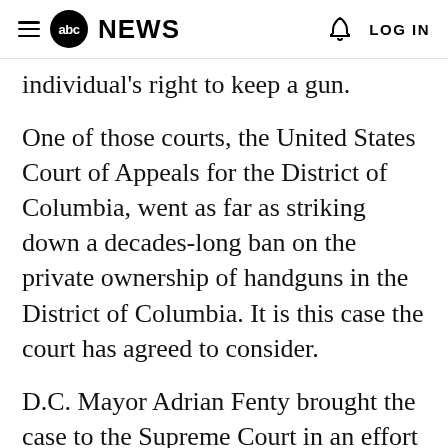abc NEWS   LOG IN
individual's right to keep a gun.
One of those courts, the United States Court of Appeals for the District of Columbia, went as far as striking down a decades-long ban on the private ownership of handguns in the District of Columbia. It is this case the court has agreed to consider.
D.C. Mayor Adrian Fenty brought the case to the Supreme Court in an effort to save the district's gun ban -- one of the strictest in the nation -- that went into effect in 1976. Fenty argues, "Whatever right the Second Amendment guarantees, it does not require